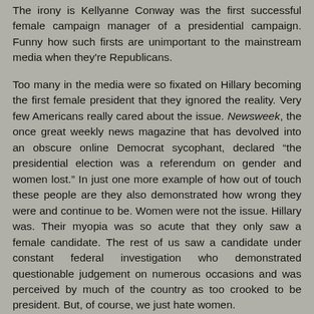The irony is Kellyanne Conway was the first successful female campaign manager of a presidential campaign. Funny how such firsts are unimportant to the mainstream media when they're Republicans.
Too many in the media were so fixated on Hillary becoming the first female president that they ignored the reality. Very few Americans really cared about the issue. Newsweek, the once great weekly news magazine that has devolved into an obscure online Democrat sycophant, declared "the presidential election was a referendum on gender and women lost." In just one more example of how out of touch these people are they also demonstrated how wrong they were and continue to be. Women were not the issue. Hillary was. Their myopia was so acute that they only saw a female candidate. The rest of us saw a candidate under constant federal investigation who demonstrated questionable judgement on numerous occasions and was perceived by much of the country as too crooked to be president. But, of course, we just hate women.
Now these same forces are trying to saddle Donald Trump with ...